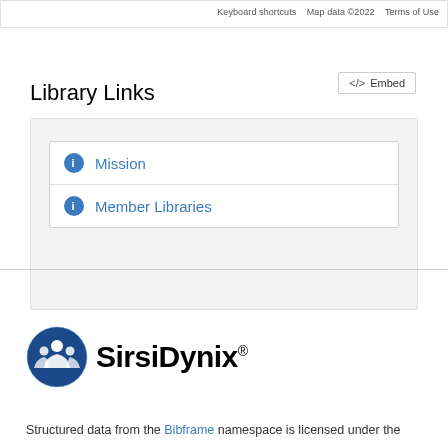[Figure (screenshot): Top of Google Maps embed showing map controls strip with 'Keyboard shortcuts', 'Map data ©2022', 'Terms of Use' text]
Embed
Library Links
Mission
Member Libraries
[Figure (logo): SirsiDynix logo with circular blue icon and SirsiDynix® text]
Structured data from the Bibframe namespace is licensed under the